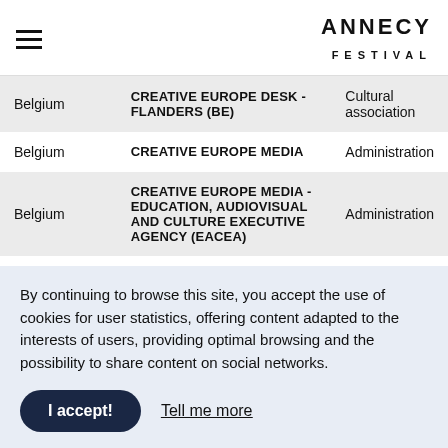ANNECY FESTIVAL
| Country | Organization | Type |
| --- | --- | --- |
| Belgium | CREATIVE EUROPE DESK - FLANDERS (BE) | Cultural association |
| Belgium | CREATIVE EUROPE MEDIA | Administration |
| Belgium | CREATIVE EUROPE MEDIA - EDUCATION, AUDIOVISUAL AND CULTURE EXECUTIVE AGENCY (EACEA) | Administration |
By continuing to browse this site, you accept the use of cookies for user statistics, offering content adapted to the interests of users, providing optimal browsing and the possibility to share content on social networks.
I accept! | Tell me more